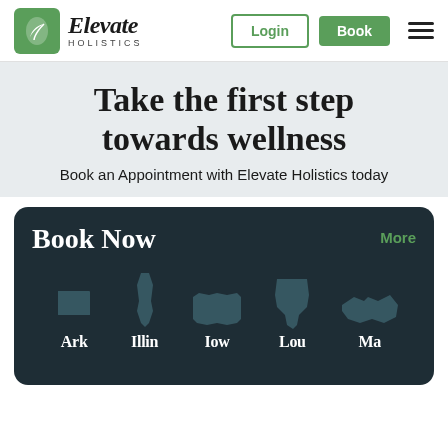[Figure (logo): Elevate Holistics logo with green leaf icon and brand name]
Take the first step towards wellness
Book an Appointment with Elevate Holistics today
Book Now
[Figure (illustration): State silhouette icons for Arkansas, Illinois, Iowa, Louisiana, Maryland with abbreviated labels Ark, Illin, Iow, Lou, Ma]